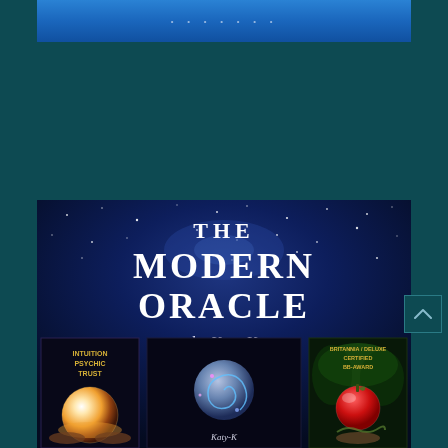[Figure (illustration): Blue banner/header image at the top of the page with a gradient blue background]
[Figure (illustration): Book cover for 'The Modern Oracle by Katy-K' showing a starry night sky background with three oracle card images at the bottom: a crystal ball card labeled 'INTUITION PSYCHIC TRUST', a center card with spiral emblem, and a green card with an apple labeled with award text]